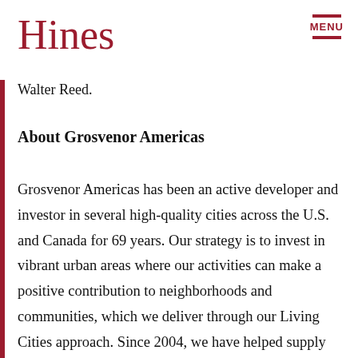Hines
Walter Reed.
About Grosvenor Americas
Grosvenor Americas has been an active developer and investor in several high-quality cities across the U.S. and Canada for 69 years. Our strategy is to invest in vibrant urban areas where our activities can make a positive contribution to neighborhoods and communities, which we deliver through our Living Cities approach. Since 2004, we have helped supply 12,300 quality homes and have transacted $4.6bn in investment property in the high-growth markets where we